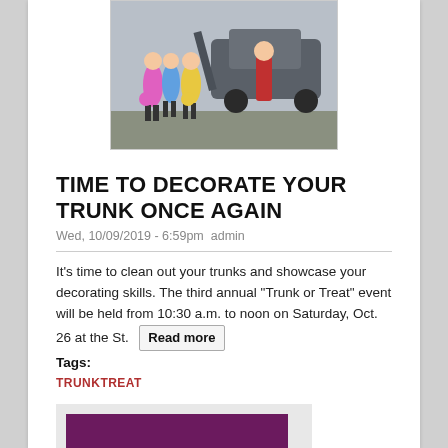[Figure (photo): Children in Halloween costumes standing near an open car trunk outdoors]
TIME TO DECORATE YOUR TRUNK ONCE AGAIN
Wed, 10/09/2019 - 6:59pm admin
It's time to clean out your trunks and showcase your decorating skills. The third annual "Trunk or Treat" event will be held from 10:30 a.m. to noon on Saturday, Oct. 26 at the St.  Read more
Tags:
TRUNKTREAT
[Figure (illustration): Purple background with yellow cartoon car and text reading TRUNK or TREAT]